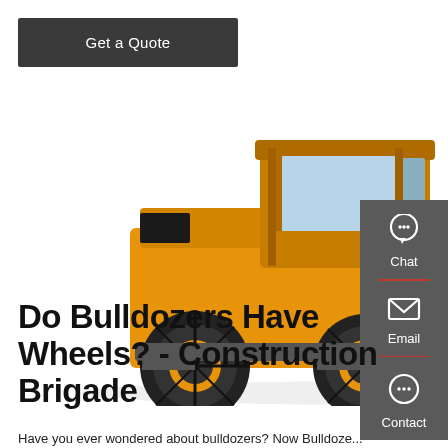Get a Quote
[Figure (photo): Yellow wheel loader / wheeled bulldozer (LW200KV) on white background, large front bucket, black cab, four large black rubber tires with yellow rims]
Do Bulldozers Have Wheels? - Construction Brigade
Have you ever wondered about bulldozers? Now Bulldozers...